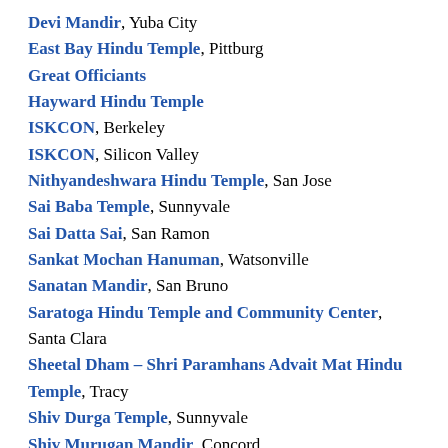Devi Mandir, Yuba City
East Bay Hindu Temple, Pittburg
Great Officiants
Hayward Hindu Temple
ISKCON, Berkeley
ISKCON, Silicon Valley
Nithyandeshwara Hindu Temple, San Jose
Sai Baba Temple, Sunnyvale
Sai Datta Sai, San Ramon
Sankat Mochan Hanuman, Watsonville
Sanatan Mandir, San Bruno
Saratoga Hindu Temple and Community Center, Santa Clara
Sheetal Dham – Shri Paramhans Advait Mat Hindu Temple, Tracy
Shiv Durga Temple, Sunnyvale
Shiv Murugan Mandir, Concord
Shiva-Vishnu Temple, Livermore
Shirdi Sai Parivaar, Milpitas